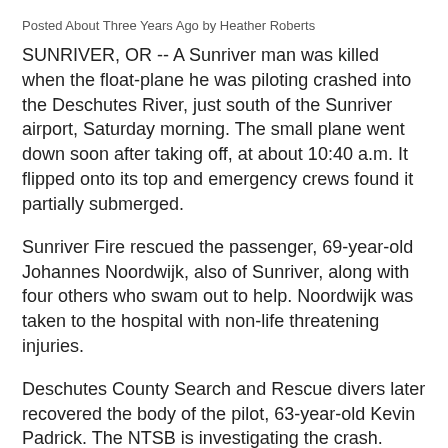Posted About Three Years Ago by Heather Roberts
SUNRIVER, OR -- A Sunriver man was killed when the float-plane he was piloting crashed into the Deschutes River, just south of the Sunriver airport, Saturday morning. The small plane went down soon after taking off, at about 10:40 a.m. It flipped onto its top and emergency crews found it partially submerged.
Sunriver Fire rescued the passenger, 69-year-old Johannes Noordwijk, also of Sunriver, along with four others who swam out to help. Noordwijk was taken to the hospital with non-life threatening injuries.
Deschutes County Search and Rescue divers later recovered the body of the pilot, 63-year-old Kevin Padrick. The NTSB is investigating the crash.